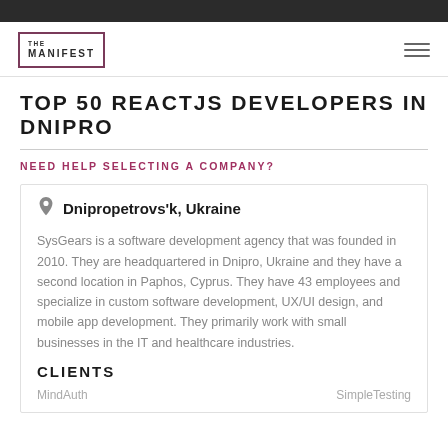TOP 50 REACTJS DEVELOPERS IN DNIPRO
NEED HELP SELECTING A COMPANY?
Dnipropetrovs'k, Ukraine
SysGears is a software development agency that was founded in 2010. They are headquartered in Dnipro, Ukraine and they have a second location in Paphos, Cyprus. They have 43 employees and specialize in custom software development, UX/UI design, and mobile app development. They primarily work with small businesses in the IT and healthcare industries.
CLIENTS
MindAuth	SimpleTesting